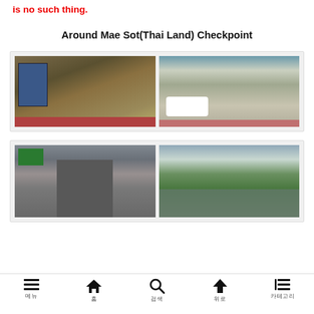is no such thing.
Around Mae Sot(Thai Land) Checkpoint
[Figure (photo): Two side-by-side photos: left shows trucks and vans in traffic near Mae Sot checkpoint with colorful barriers; right shows parked white vans and cars along a street with shophouses.]
[Figure (photo): Two side-by-side photos: left shows a road/bridge with green directional sign overhead and apartment buildings; right shows a river winding through green trees under a cloudy sky.]
메뉴   홈   검색   위로   카테고리